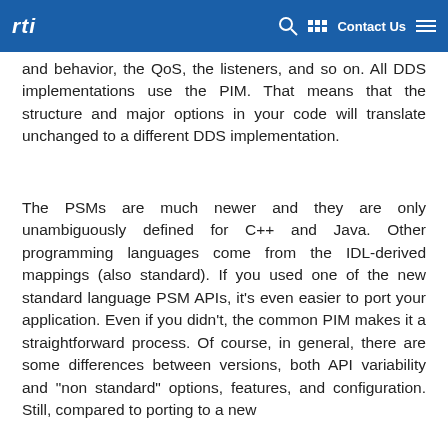rti  [search] [grid] [Contact Us] [menu]
and behavior, the QoS, the listeners, and so on. All DDS implementations use the PIM. That means that the structure and major options in your code will translate unchanged to a different DDS implementation.
The PSMs are much newer and they are only unambiguously defined for C++ and Java. Other programming languages come from the IDL-derived mappings (also standard). If you used one of the new standard language PSM APIs, it's even easier to port your application. Even if you didn't, the common PIM makes it a straightforward process. Of course, in general, there are some differences between versions, both API variability and "non standard" options, features, and configuration. Still, compared to porting to a new